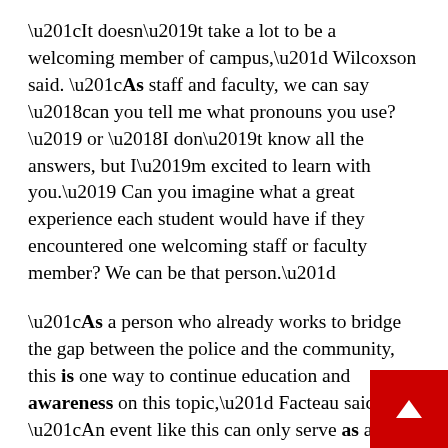“It doesn’t take a lot to be a welcoming member of campus,” Wilcoxson said. “As staff and faculty, we can say ‘can you tell me what pronouns you use?’ or ‘I don’t know all the answers, but I’m excited to learn with you.’ Can you imagine what a great experience each student would have if they encountered one welcoming staff or faculty member? We can be that person.”
“As a person who already works to bridge the gap between the police and the community, this is one way to continue education and awareness on this topic,” Facteau said. “An event like this can only serve as a benefit — not to mention that now as an investigator, this just builds into that role.”